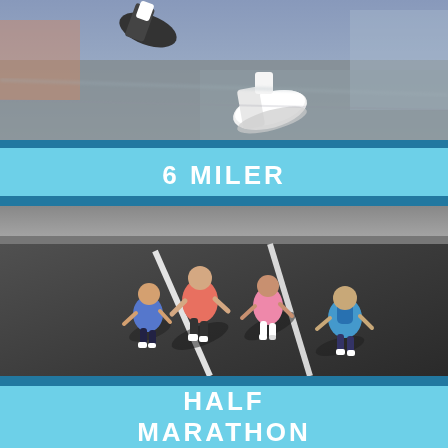[Figure (photo): Close-up aerial photo of runners' feet and legs on a road, motion blur visible, one runner in white sneakers prominent]
6 MILER
[Figure (photo): Aerial overhead view of four runners on a road with white lane markings, wearing colorful athletic gear (pink, blue, black)]
HALF MARATHON